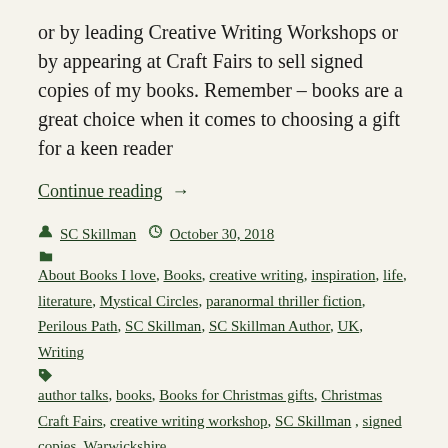or by leading Creative Writing Workshops or by appearing at Craft Fairs to sell signed copies of my books. Remember – books are a great choice when it comes to choosing a gift for a keen reader
Continue reading  →
SC Skillman   October 30, 2018
About Books I love, Books, creative writing, inspiration, life, literature, Mystical Circles, paranormal thriller fiction, Perilous Path, SC Skillman, SC Skillman Author, UK, Writing
author talks, books, Books for Christmas gifts, Christmas Craft Fairs, creative writing workshop, SC Skillman, signed copies, Warwickshire
Leave a comment